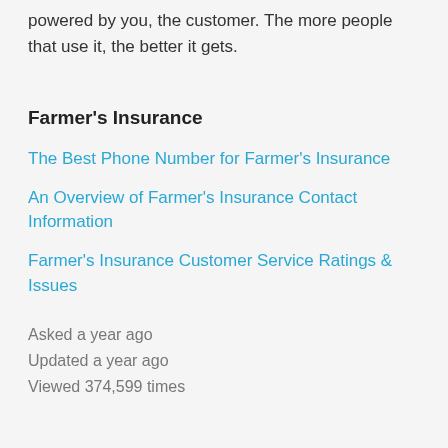powered by you, the customer. The more people that use it, the better it gets.
Farmer's Insurance
The Best Phone Number for Farmer's Insurance
An Overview of Farmer's Insurance Contact Information
Farmer's Insurance Customer Service Ratings & Issues
Asked a year ago
Updated a year ago
Viewed 374,599 times